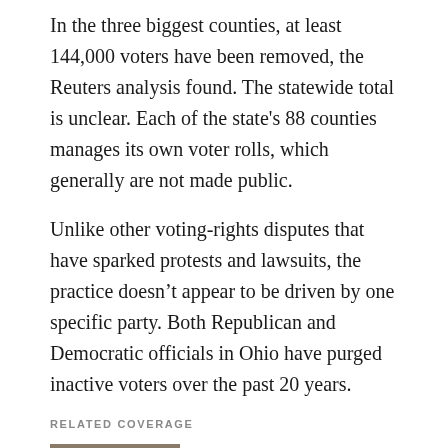In the three biggest counties, at least 144,000 voters have been removed, the Reuters analysis found. The statewide total is unclear. Each of the state's 88 counties manages its own voter rolls, which generally are not made public.
Unlike other voting-rights disputes that have sparked protests and lawsuits, the practice doesn't appear to be driven by one specific party. Both Republican and Democratic officials in Ohio have purged inactive voters over the past 20 years.
RELATED COVERAGE
[Figure (photo): Photo thumbnail for related article about Native Americans and voting rights]
Native Americans move to frontlines in battle over voting rights